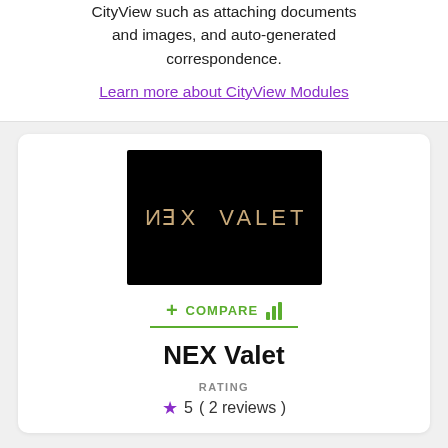CityView such as attaching documents and images, and auto-generated correspondence.
Learn more about CityView Modules
[Figure (logo): NEX Valet logo — white text on black background showing reversed N, E, X, V, A, L, E, T in a stylized font]
+ COMPARE (with chart icon and green underline)
NEX Valet
RATING
5 ( 2 reviews )